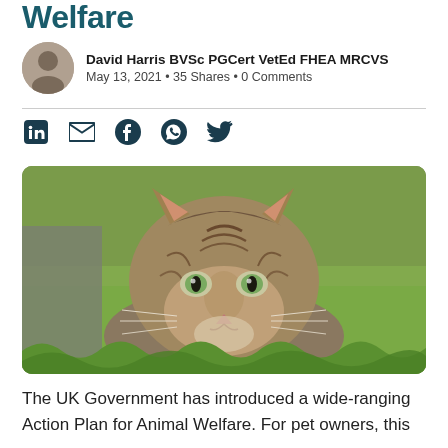Welfare
David Harris BVSc PGCert VetEd FHEA MRCVS
May 13, 2021 • 35 Shares • 0 Comments
[Figure (photo): Close-up photo of a tabby cat with green eyes lying in green grass, looking directly at the camera]
The UK Government has introduced a wide-ranging Action Plan for Animal Welfare. For pet owners, this